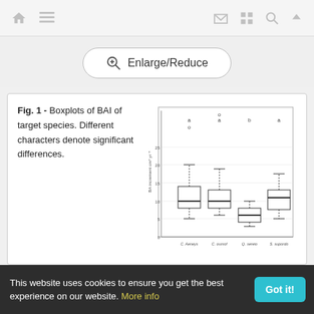Navigation bar with home, menu, mail, grid, search, and up icons
[Figure (other): Enlarge/Reduce button]
Fig. 1 - Boxplots of BAI of target species. Different characters denote significant differences.
[Figure (other): Boxplots of BAI increment (cm² yr⁻¹) for four species: C. aeneys, C. oumof, Q. sereio, S. supordo. Letters a, a, b, a above denote significant differences. Species Q. sereio has the lowest BAI, others are similar and higher.]
[Figure (other): Enlarge/Shrink and Full Width buttons]
This website uses cookies to ensure you get the best experience on our website. More info